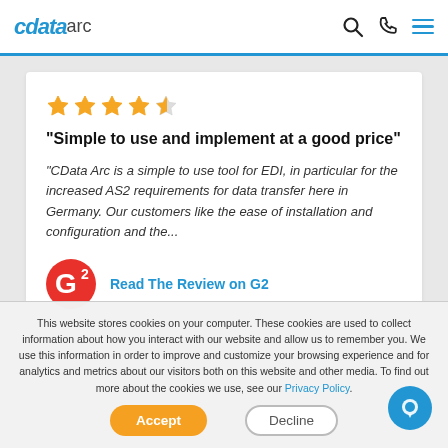cdata arc
"Simple to use and implement at a good price"
"CData Arc is a simple to use tool for EDI, in particular for the increased AS2 requirements for data transfer here in Germany. Our customers like the ease of installation and configuration and the...
Read The Review on G2
This website stores cookies on your computer. These cookies are used to collect information about how you interact with our website and allow us to remember you. We use this information in order to improve and customize your browsing experience and for analytics and metrics about our visitors both on this website and other media. To find out more about the cookies we use, see our Privacy Policy.